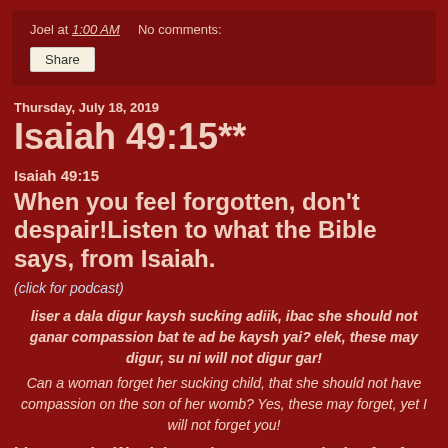Joel at 1:00 AM    No comments:
Share
Thursday, July 18, 2019
Isaiah 49:15**
Isaiah 49:15
When you feel forgotten, don't despair!Listen to what the Bible says, from Isaiah.
(click for podcast)
liser a dala digur kaysh sucking adiik, ibac she should not ganar compassion bat te ad be kaysh yai? elek, these may digur, su ni will not digur gar!
Can a woman forget her sucking child, that she should not have compassion on the son of her womb? Yes, these may forget, yet I will not forget you!
Listen to the Word, it reaches even to galaxies far, far away